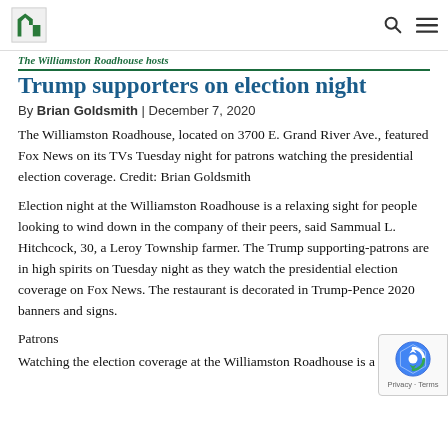[Logo] [Search icon] [Menu icon]
The Williamston Roadhouse hosts Trump supporters on election night
By Brian Goldsmith | December 7, 2020
The Williamston Roadhouse, located on 3700 E. Grand River Ave., featured Fox News on its TVs Tuesday night for patrons watching the presidential election coverage. Credit: Brian Goldsmith
Election night at the Williamston Roadhouse is a relaxing sight for people looking to wind down in the company of their peers, said Sammual L. Hitchcock, 30, a Leroy Township farmer. The Trump supporting-patrons are in high spirits on Tuesday night as they watch the presidential election coverage on Fox News. The restaurant is decorated in Trump-Pence 2020 banners and signs.
Patrons
Watching the election coverage at the Williamston Roadhouse is a